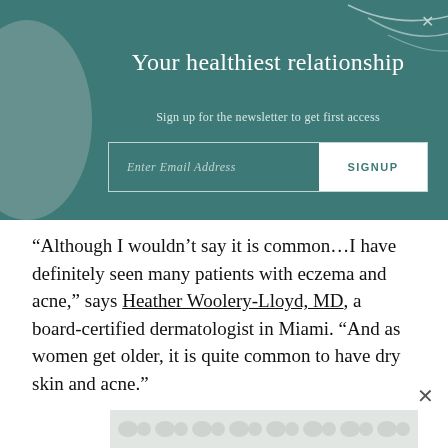[Figure (screenshot): Newsletter signup banner with teal background, decorative circle on left and curved lines on top right, close X button]
Your healthiest relationship
Sign up for the newsletter to get first access
Enter Email Address   SIGNUP
“Although I wouldn’t say it is common…I have definitely seen many patients with eczema and acne,” says Heather Woolery-Lloyd, MD, a board-certified dermatologist in Miami. “And as women get older, it is quite common to have dry skin and acne.”
[Figure (illustration): Decorative pattern at bottom with repeating blob/organic shapes in light gray]